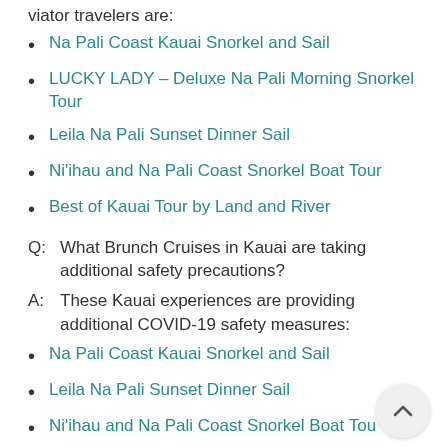viator travelers are:
Na Pali Coast Kauai Snorkel and Sail
LUCKY LADY – Deluxe Na Pali Morning Snorkel Tour
Leila Na Pali Sunset Dinner Sail
Ni'ihau and Na Pali Coast Snorkel Boat Tour
Best of Kauai Tour by Land and River
Q:  What Brunch Cruises in Kauai are taking additional safety precautions?
A:  These Kauai experiences are providing additional COVID-19 safety measures:
Na Pali Coast Kauai Snorkel and Sail
Leila Na Pali Sunset Dinner Sail
Ni'ihau and Na Pali Coast Snorkel Boat Tour
Best of Kauai Tour by Land and River